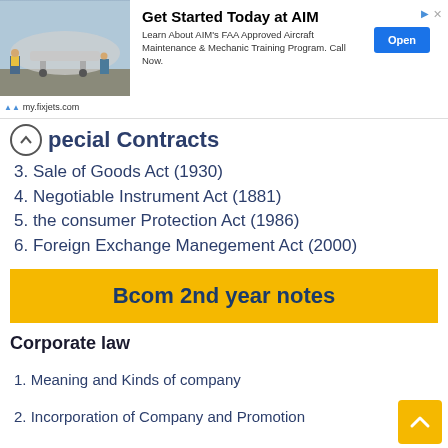[Figure (screenshot): Advertisement banner for AIM FAA Approved Aircraft Maintenance & Mechanic Training Program with airplane image, Open button, and my.fixjets.com branding]
Special Contracts
3. Sale of Goods Act (1930)
4. Negotiable Instrument Act (1881)
5. the consumer Protection Act (1986)
6. Foreign Exchange Manegement Act (2000)
[Figure (other): Yellow banner with text: Bcom 2nd year notes]
Corporate law
1. Meaning and Kinds of company
2. Incorporation of Company and Promotion
3. Managing Director and Whole time Director (memorandum of association)